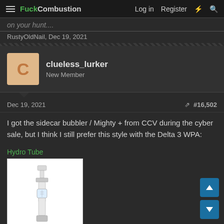FuckCombustion | Log in | Register
on your hunt....
RustyOldNail, Dec 19, 2021
clueless_lurker
New Member
Dec 19, 2021  #16,502
I got the sidecar bubbler / Mighty + from CCV during the cyber sale, but I think I still prefer this style with the Delta 3 WPA:
Hydro Tube
[Figure (photo): Glass hydro tube product photo on white background]